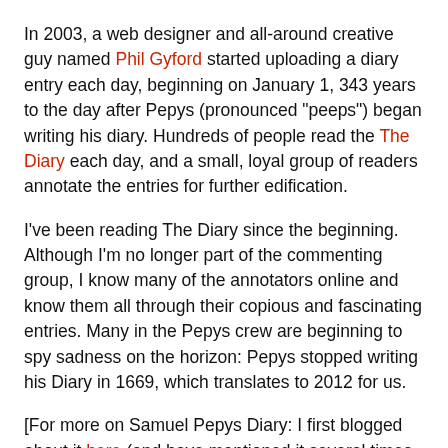In 2003, a web designer and all-around creative guy named Phil Gyford started uploading a diary entry each day, beginning on January 1, 343 years to the day after Pepys (pronounced "peeps") began writing his diary. Hundreds of people read the The Diary each day, and a small, loyal group of readers annotate the entries for further edification.
I've been reading The Diary since the beginning. Although I'm no longer part of the commenting group, I know many of the annotators online and know them all through their copious and fascinating entries. Many in the Pepys crew are beginning to spy sadness on the horizon: Pepys stopped writing his Diary in 1669, which translates to 2012 for us.
[For more on Samuel Pepys Diary: I first blogged about it here (and have mentioned it several times since); here is Pepys' Wikipedia entry; and here's the "about" from the Pepys Diary blog.]
So I'd like to read Disunion - to get caught up, then read it daily or weekly, the way I read Pepys - but do I really need